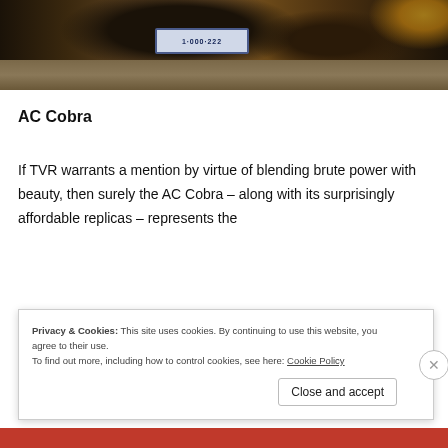[Figure (photo): Rear view of an AC Cobra sports car with license plate '1·000·222' on a road, with yellow flowers visible in background. Dark dramatic lighting.]
AC Cobra
If TVR warrants a mention by virtue of blending brute power with beauty, then surely the AC Cobra – along with its surprisingly affordable replicas – represents the
Privacy & Cookies: This site uses cookies. By continuing to use this website, you agree to their use.
To find out more, including how to control cookies, see here: Cookie Policy
Close and accept